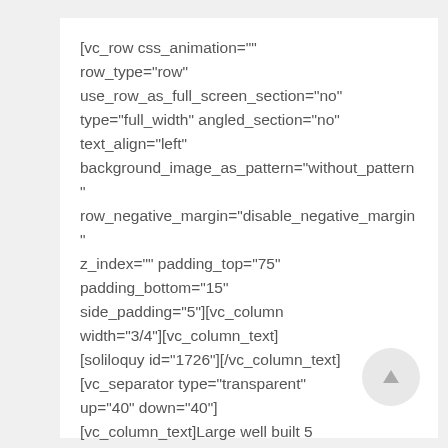[vc_row css_animation="" row_type="row" use_row_as_full_screen_section="no" type="full_width" angled_section="no" text_align="left" background_image_as_pattern="without_pattern" row_negative_margin="disable_negative_margin" z_index="" padding_top="75" padding_bottom="15" side_padding="5"][vc_column width="3/4"][vc_column_text] [soliloquy id="1726"][/vc_column_text] [vc_separator type="transparent" up="40" down="40"] [vc_column_text]Large well built 5 Bedroom 3 Bathroom 2 storey home on large acreage available for rent. Over 3000 sq feet with lots of storage, 2 patios including one...